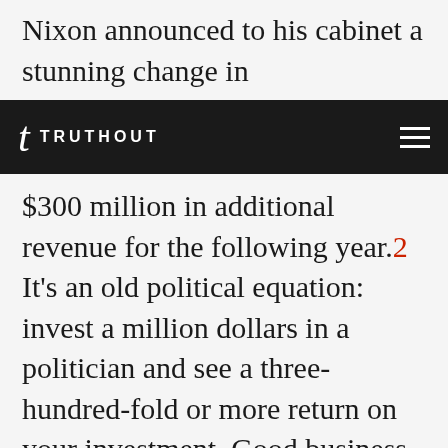Nixon announced to his cabinet a stunning change in administration position that would
t TRUTHOUT
$300 million in additional revenue for the following year.2 It's an old political equation: invest a million dollars in a politician and see a three-hundred-fold or more return on your investment. Good business.

Similarly, as somebody involved in education issues (I'm on the board of directors of a private school in New Hampshire and have written seven education-related books), I had wondered about...